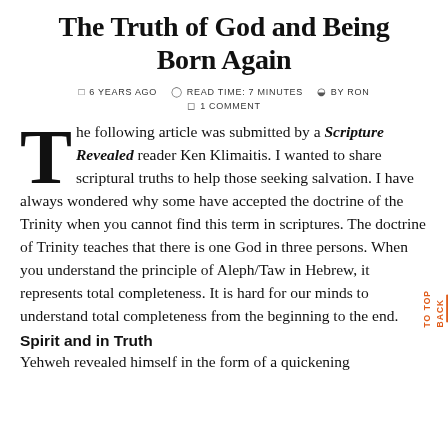The Truth of God and Being Born Again
6 YEARS AGO   READ TIME: 7 MINUTES   BY RON   1 COMMENT
The following article was submitted by a Scripture Revealed reader Ken Klimaitis. I wanted to share scriptural truths to help those seeking salvation. I have always wondered why some have accepted the doctrine of the Trinity when you cannot find this term in scriptures. The doctrine of Trinity teaches that there is one God in three persons. When you understand the principle of Aleph/Taw in Hebrew, it represents total completeness. It is hard for our minds to understand total completeness from the beginning to the end.
Spirit and in Truth
Yehweh revealed himself in the form of a quickening